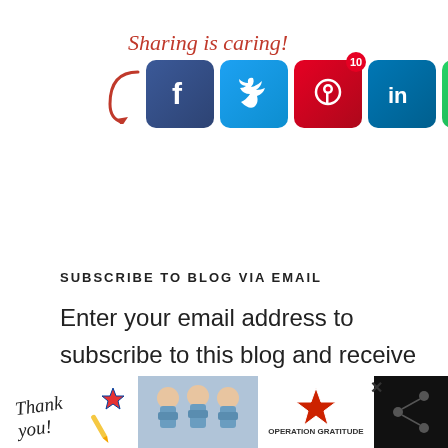[Figure (infographic): Sharing is caring! text with a red italic curved arrow pointing to social media share buttons: Facebook (blue), Twitter (light blue), Pinterest (red, with badge '10'), LinkedIn (blue), WhatsApp (green), and a share icon (green).]
SUBSCRIBE TO BLOG VIA EMAIL
Enter your email address to subscribe to this blog and receive notifications of new posts by email.
[Figure (infographic): Bottom advertisement bar showing 'Thank you!' handwritten text with a flag, a photo of three masked healthcare workers, Operation Gratitude logo with a star, a close button, and right-side icons on dark background.]